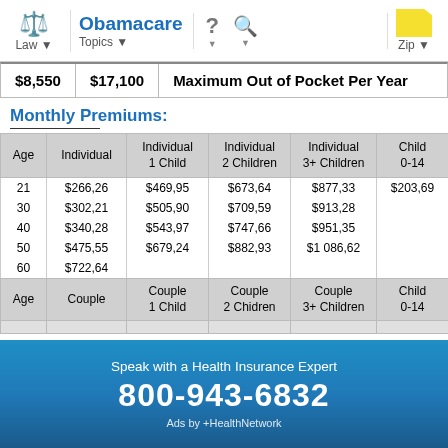Law | Obamacare Topics | ? | Search | Zip
| $8,550 | $17,100 | Maximum Out of Pocket Per Year |
| --- | --- | --- |
Monthly Premiums:
| Age | Individual | Individual 1 Child | Individual 2 Children | Individual 3+ Children | Child 0-14 |
| --- | --- | --- | --- | --- | --- |
| 21 | $266,26 | $469,95 | $673,64 | $877,33 | $203,69 |
| 30 | $302,21 | $505,90 | $709,59 | $913,28 |  |
| 40 | $340,28 | $543,97 | $747,66 | $951,35 |  |
| 50 | $475,55 | $679,24 | $882,93 | $1 086,62 |  |
| 60 | $722,64 |  |  |  |  |
| Age | Couple | Couple 1 Child | Couple 2 Chidren | Couple 3+ Children | Child 0-14 |
Speak with a Health Insurance Expert
800-943-6832
Ads by +HealthNetwork